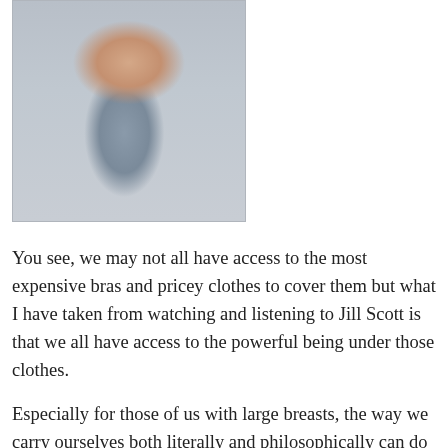[Figure (photo): A smiling person wearing a jacket and earrings, photographed outdoors. The image is faded/light in tone.]
You see, we may not all have access to the most expensive bras and pricey clothes to cover them but what I have taken from watching and listening to Jill Scott is that we all have access to the powerful being under those clothes.
Especially for those of us with large breasts, the way we carry ourselves both literally and philosophically can do